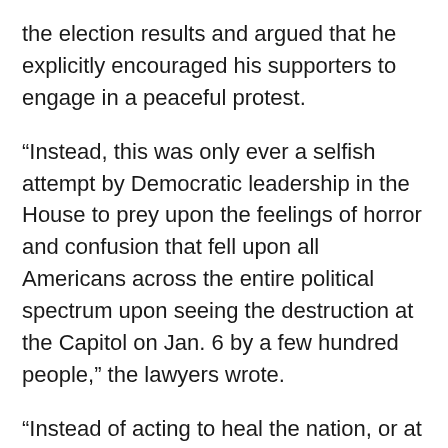the election results and argued that he explicitly encouraged his supporters to engage in a peaceful protest.
“Instead, this was only ever a selfish attempt by Democratic leadership in the House to prey upon the feelings of horror and confusion that fell upon all Americans across the entire political spectrum upon seeing the destruction at the Capitol on Jan. 6 by a few hundred people,” the lawyers wrote.
“Instead of acting to heal the nation, or at the very least focusing on prosecuting the lawbreakers who stormed the Capitol, the Speaker of the